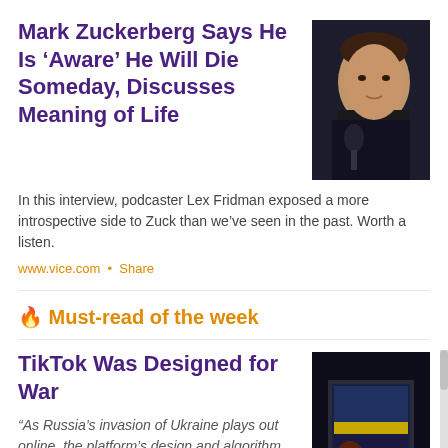Mark Zuckerberg Says He Is ‘Aware’ He Will Die Someday, Discusses Meaning of Life
[Figure (photo): Photo of Mark Zuckerberg sitting in front of a microphone, appearing to speak, dark background]
In this interview, podcaster Lex Fridman exposed a more introspective side to Zuck than we’ve seen in the past. Worth a listen.
www.vice.com • Share
🔥 Must-read of the week
TikTok Was Designed for War
[Figure (photo): Photo of a person holding a phone near a train window at night, dark scene]
“As Russia’s invasion of Ukraine plays out online, the platform’s design and algorithm prove ideal